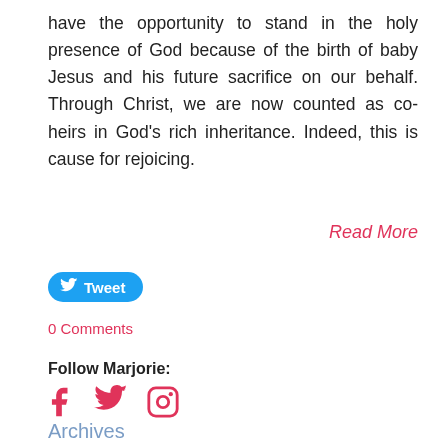have the opportunity to stand in the holy presence of God because of the birth of baby Jesus and his future sacrifice on our behalf. Through Christ, we are now counted as co-heirs in God’s rich inheritance. Indeed, this is cause for rejoicing.
Read More
Tweet
0 Comments
Follow Marjorie:
Archives